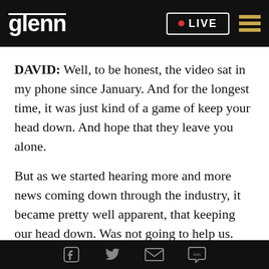glenn | LIVE
DAVID: Well, to be honest, the video sat in my phone since January. And for the longest time, it was just kind of a game of keep your head down. And hope that they leave you alone.
But as we started hearing more and more news coming down through the industry, it became pretty well apparent, that keeping our head down. Was not going to help us. Because unfortunately, everyone prior to us, also kept their head down. And ended up losing their licenses anyway.
Social share icons: Facebook, Twitter, Email, SMS